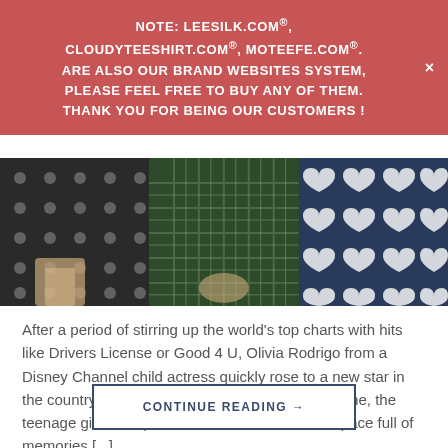NOTE: LEESILK.COM®, CLOUDYTEESHIRT.COM®, MOTEEFE.COM®. ARE ALSO OUR BRAND WEBSITES SYSTEM, PLEASE FEEL FREE TO BUY ANY OF THEM. THANK YOU FOR BEING OUR CUSTOMERS !
[Figure (photo): Three-panel photo strip showing clothing items: left panel shows black fabric with white circular dot pattern, center panel shows dark green plaid/tartan fabric, right panel shows navy blue fabric with white heart pattern.]
After a period of stirring up the world's top charts with hits like Drivers License or Good 4 U, Olivia Rodrigo from a Disney Channel child actress quickly rose to a new star in the country music sky. America. From tone to theme, the teenage girl's compositions are covered with a space full of memories [...]
CONTINUE READING →